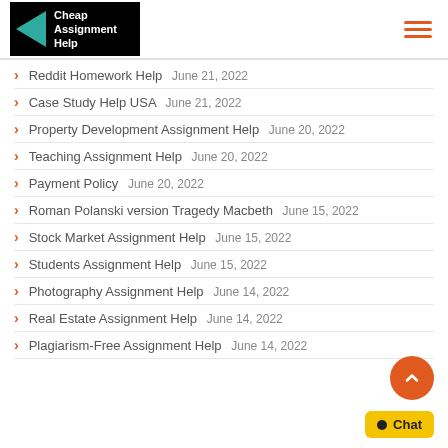Cheap Assignment Help
Reddit Homework Help June 21, 2022
Case Study Help USA June 21, 2022
Property Development Assignment Help June 20, 2022
Teaching Assignment Help June 20, 2022
Payment Policy June 20, 2022
Roman Polanski version Tragedy Macbeth June 15, 2022
Stock Market Assignment Help June 15, 2022
Students Assignment Help June 15, 2022
Photography Assignment Help June 14, 2022
Real Estate Assignment Help June 14, 2022
Plagiarism-Free Assignment Help June 14, 2022